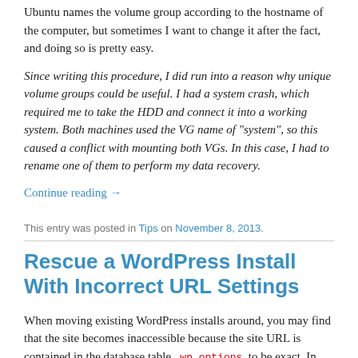Ubuntu names the volume group according to the hostname of the computer, but sometimes I want to change it after the fact, and doing so is pretty easy.
Since writing this procedure, I did run into a reason why unique volume groups could be useful. I had a system crash, which required me to take the HDD and connect it into a working system. Both machines used the VG name of “system”, so this caused a conflict with mounting both VGs. In this case, I had to rename one of them to perform my data recovery.
Continue reading →
This entry was posted in Tips on November 8, 2013.
Rescue a WordPress Install With Incorrect URL Settings
When moving existing WordPress installs around, you may find that the site becomes inaccessible because the site URL is contained in the database table, wp_options to be exact. In order to make this site accessible, the site URL option needs to be changed. Where can that be changed? From the